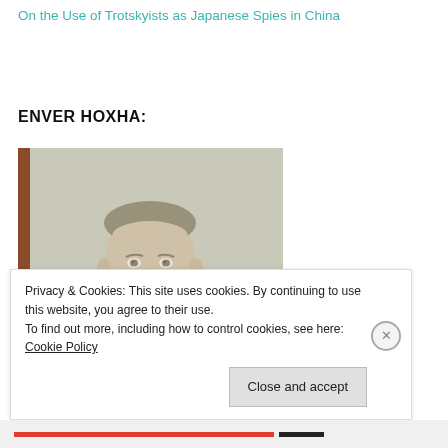On the Use of Trotskyists as Japanese Spies in China
ENVER HOXHA:
[Figure (photo): Portrait painting of Enver Hoxha, a man in a light grey suit with a dark red tie, seated, with a grey background.]
Privacy & Cookies: This site uses cookies. By continuing to use this website, you agree to their use.
To find out more, including how to control cookies, see here: Cookie Policy
Close and accept